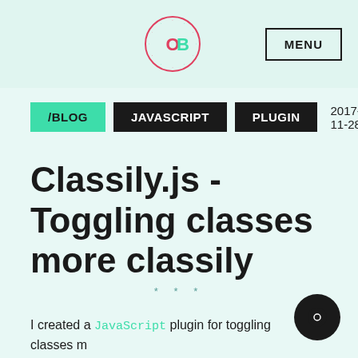[Figure (logo): Circular logo with letters OB in the center, surrounded by decorative text ring, in pink/red and teal colors]
MENU
/BLOG
JAVASCRIPT
PLUGIN
2017-11-28
Classily.js - Toggling classes more classily
* * *
I created a JavaScript plugin for toggling classes more classily, and I called it Classily.js. The plugin is